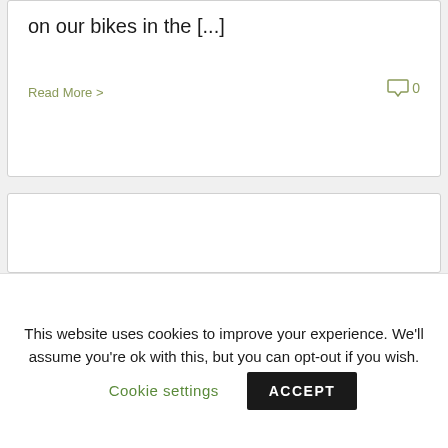on our bikes in the [...]
Read More >
0
[Figure (other): Empty white card/content block]
This website uses cookies to improve your experience. We'll assume you're ok with this, but you can opt-out if you wish.
Cookie settings
ACCEPT